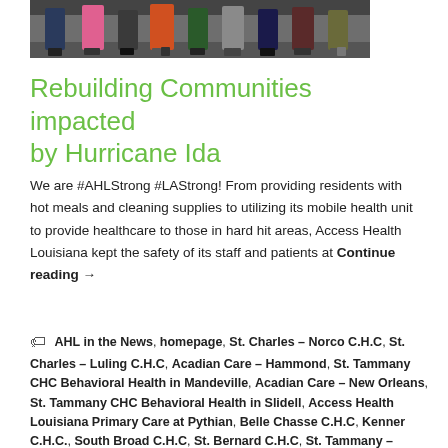[Figure (photo): Bottom portion of a group photo showing people standing, only their lower bodies/legs visible, wearing colorful clothing and shoes.]
Rebuilding Communities impacted by Hurricane Ida
We are #AHLStrong #LAStrong! From providing residents with hot meals and cleaning supplies to utilizing its mobile health unit to provide healthcare to those in hard hit areas, Access Health Louisiana kept the safety of its staff and patients at Continue reading →
AHL in the News, homepage, St. Charles – Norco C.H.C, St. Charles – Luling C.H.C, Acadian Care – Hammond, St. Tammany CHC Behavioral Health in Mandeville, Acadian Care – New Orleans, St. Tammany CHC Behavioral Health in Slidell, Access Health Louisiana Primary Care at Pythian, Belle Chasse C.H.C, Kenner C.H.C., South Broad C.H.C, St. Bernard C.H.C, St. Tammany – Slidell C.H.C, Tangipahoa C.H.C, Washington C.H.C,